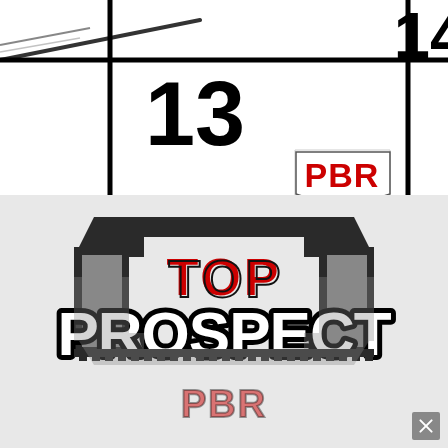[Figure (logo): PBR Prep Baseball Report logo with calendar/scoreboard background showing numbers 13 and 14. Black thick lines on white background with PBR shield logo in red and black.]
[Figure (logo): PBR Top Prospect logo. Large bold text 'TOP PROSPECT' in white with black outline on a dark architectural banner shape. 'TOP' in red letters. Below is a reflected/faded version of the logo with PBR text in red. Bottom right has a gray X close button.]